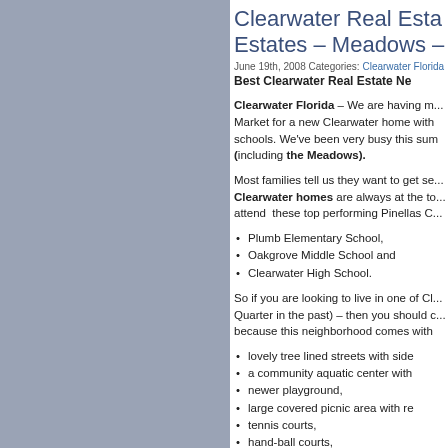Clearwater Real Estates – Meadows –
June 19th, 2008 Categories: Clearwater Florida
Best Clearwater Real Estate Ne
Clearwater Florida – We are having m... Market for a new Clearwater home with schools. We've been very busy this sum (including the Meadows).
Most families tell us they want to get se... Clearwater homes are always at the to... attend these top performing Pinellas C...
Plumb Elementary School,
Oakgrove Middle School and
Clearwater High School.
So if you are looking to live in one of Cl... Quarter in the past) – then you should c... because this neighborhood comes with
lovely tree lined streets with side
a community aquatic center with
newer playground,
large covered picnic area with re
tennis courts,
hand-ball courts,
basketball court,
a new bike path run's through n
and more,